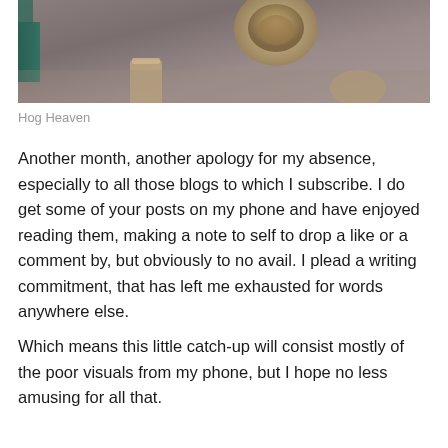[Figure (photo): Top-down photo showing what appears to be a hedgehog in a bowl or container, with a teal/green object on the left edge and another container visible, set on a brownish surface.]
Hog Heaven
Another month, another apology for my absence, especially to all those blogs to which I subscribe. I do get some of your posts on my phone and have enjoyed reading them, making a note to self to drop a like or a comment by, but obviously to no avail. I plead a writing commitment, that has left me exhausted for words anywhere else.
Which means this little catch-up will consist mostly of the poor visuals from my phone, but I hope no less amusing for all that.